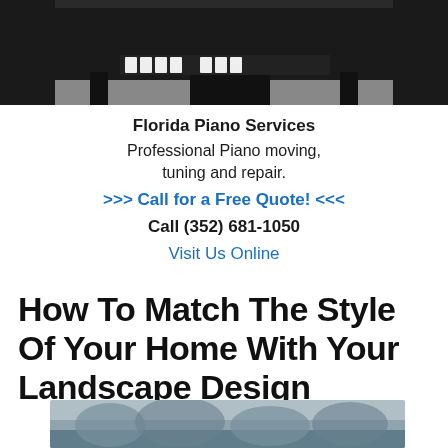[Figure (photo): Close-up photo of a black grand piano, showing the keyboard area and legs on a gray floor]
Florida Piano Services
Professional Piano moving, tuning and repair.
>>> Call for a Free Quote! <<<
Call (352) 681-1050
Visit Us Online
How To Match The Style Of Your Home With Your Landscape Design
[Figure (photo): Partial landscape photo at bottom of page, showing a misty or snowy outdoor scene]